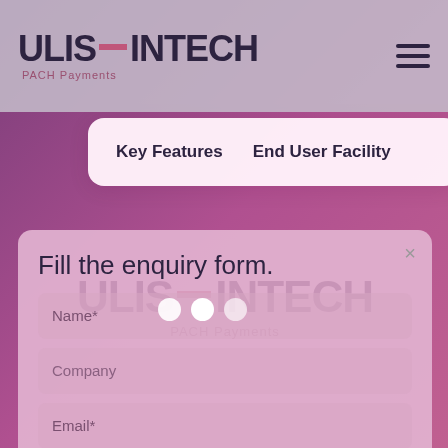[Figure (screenshot): ULIS FINTECH PACH Payments logo in header bar with hamburger menu icon]
Key Features    End User Facility
Fill the enquiry form.
Name*
Company
Email*
Country*
Code*